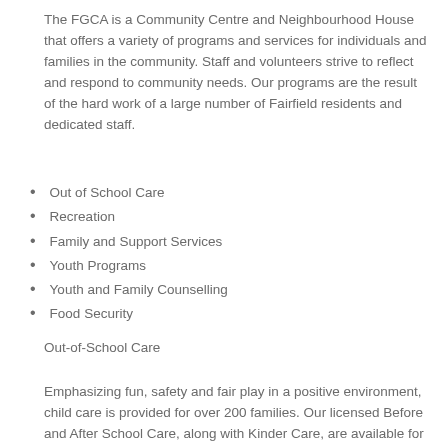The FGCA is a Community Centre and Neighbourhood House that offers a variety of programs and services for individuals and families in the community. Staff and volunteers strive to reflect and respond to community needs. Our programs are the result of the hard work of a large number of Fairfield residents and dedicated staff.
Out of School Care
Recreation
Family and Support Services
Youth Programs
Youth and Family Counselling
Food Security
Out-of-School Care
Emphasizing fun, safety and fair play in a positive environment, child care is provided for over 200 families. Our licensed Before and After School Care, along with Kinder Care, are available for children 5-12 years of age who